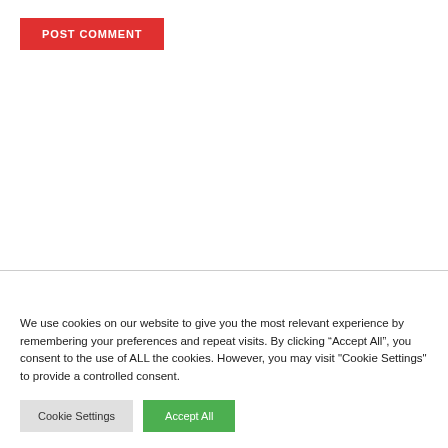POST COMMENT
We use cookies on our website to give you the most relevant experience by remembering your preferences and repeat visits. By clicking “Accept All”, you consent to the use of ALL the cookies. However, you may visit "Cookie Settings" to provide a controlled consent.
Cookie Settings
Accept All